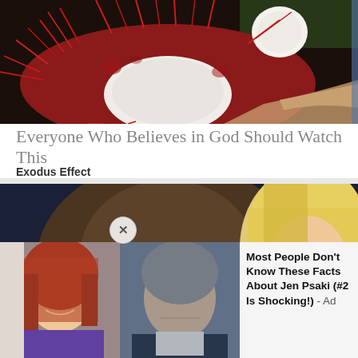[Figure (photo): Close-up photo of a rambutan fruit being held open, showing its red spiky exterior and white interior flesh with a seed]
Everyone Who Believes in God Should Watch This
Exodus Effect
[Figure (photo): Photo of a man with sunglasses smiling on the left and a blonde woman on the right]
[Figure (photo): Ad overlay showing a red-haired woman and an older man side by side]
Most People Don't Know These Facts About Jen Psaki (#2 Is Shocking!) - Ad